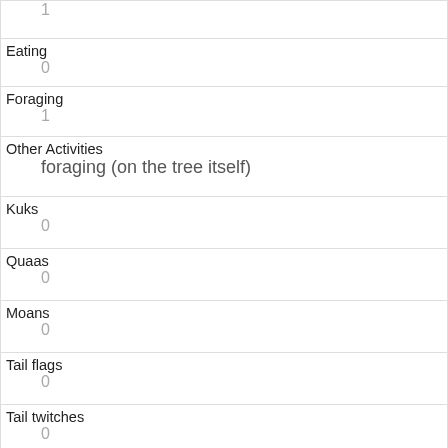| 1 |
| Eating | 0 |
| Foraging | 1 |
| Other Activities | foraging (on the tree itself) |
| Kuks | 0 |
| Quaas | 0 |
| Moans | 0 |
| Tail flags | 0 |
| Tail twitches | 0 |
| Approaches | 0 |
| Indifferent | 1 |